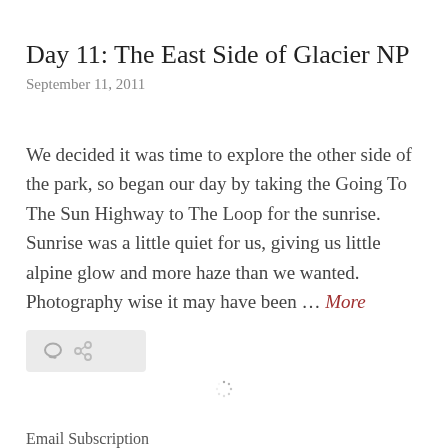Day 11: The East Side of Glacier NP
September 11, 2011
We decided it was time to explore the other side of the park, so began our day by taking the Going To The Sun Highway to The Loop for the sunrise. Sunrise was a little quiet for us, giving us little alpine glow and more haze than we wanted. Photography wise it may have been … More
[Figure (screenshot): Action bar with comment and link icons on a light gray rounded rectangle background]
[Figure (screenshot): Loading spinner icon]
Email Subscription